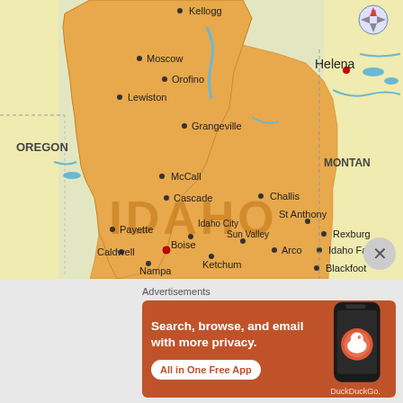[Figure (map): Map showing the state of Idaho and surrounding regions including parts of Oregon and Montana. The map shows cities including Kellogg, Moscow, Orofino, Lewiston, Grangeville, McCall, Cascade, Challis, Payette, Idaho City, Sun Valley, Boise, Ketchum, Caldwell, Nampa, Arco, St Anthony, Rexburg, Idaho Falls, Blackfoot. Helena is shown in Montana. The state name IDAHO is displayed in large orange text across the state. A compass rose appears in the upper right. A close/dismiss button appears at lower right.]
Advertisements
[Figure (screenshot): DuckDuckGo advertisement. Orange background. Text reads: Search, browse, and email with more privacy. All in One Free App. Shows a smartphone with DuckDuckGo logo and branding.]